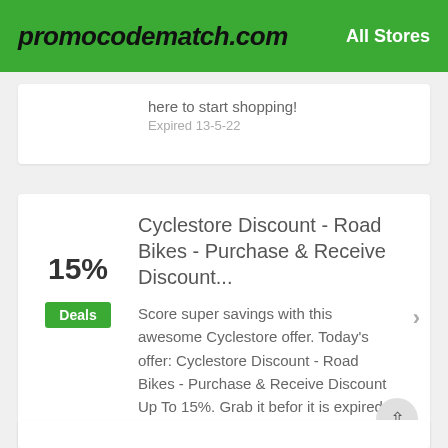promocodematch.com  All Stores
here to start shopping!
Expired 13-5-22
Cyclestore Discount - Road Bikes - Purchase & Receive Discount...
Score super savings with this awesome Cyclestore offer. Today's offer: Cyclestore Discount - Road Bikes - Purchase & Receive Discount Up To 15%. Grab it befor it is expired.
Expired 17-6-22